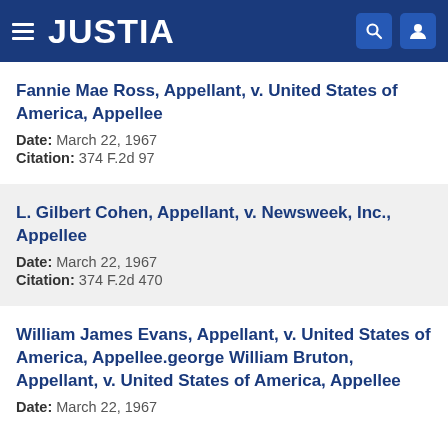JUSTIA
Fannie Mae Ross, Appellant, v. United States of America, Appellee
Date: March 22, 1967
Citation: 374 F.2d 97
L. Gilbert Cohen, Appellant, v. Newsweek, Inc., Appellee
Date: March 22, 1967
Citation: 374 F.2d 470
William James Evans, Appellant, v. United States of America, Appellee.george William Bruton, Appellant, v. United States of America, Appellee
Date: March 22, 1967